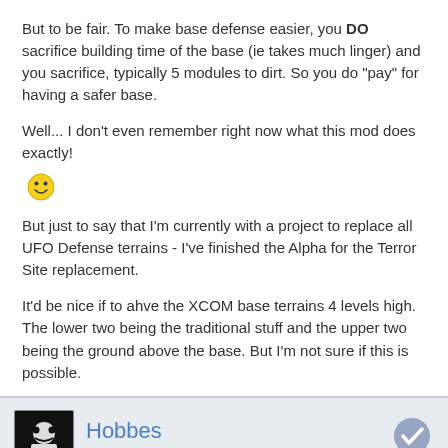But to be fair. To make base defense easier, you DO sacrifice building time of the base (ie takes much linger) and you sacrifice, typically 5 modules to dirt. So you do "pay" for having a safer base.
Well... I don't even remember right now what this mod does exactly!
[Figure (illustration): Smiley face emoji]
But just to say that I'm currently with a project to replace all UFO Defense terrains - I've finished the Alpha for the Terror Site replacement.
It'd be nice if to ahve the XCOM base terrains 4 levels high. The lower two being the traditional stuff and the upper two being the ground above the base. But I'm not sure if this is possible.
Hobbes
11 Mar 2012
stewart, on Mar 9 2012, 11:51 PM, said:
Hobbes, on Feb 21 2012, 11:30 AM, said:
stewart, on Feb 8 2012, 03:42 PM, said: